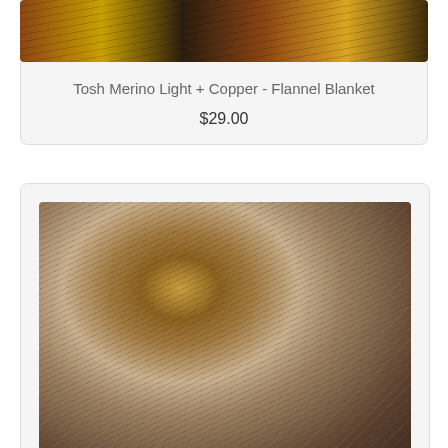[Figure (photo): Close-up of colorful yarn skein with yellow, black, and brown colors partially visible at top of card]
Tosh Merino Light + Copper - Flannel Blanket
$29.00
[Figure (photo): Close-up macro photo of yarn skein showing brown, tan, golden-brown twisted fibers arranged in a circular/fan pattern]
Tosh Merino Light + Copper - Love the Wine You're With